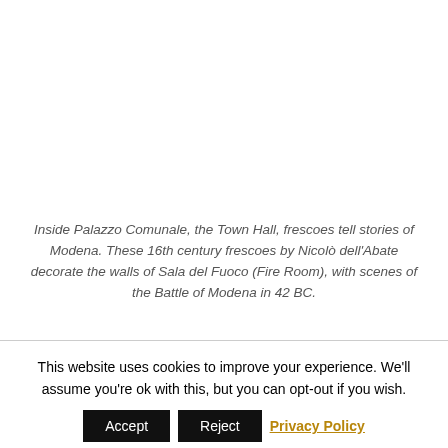Inside Palazzo Comunale, the Town Hall, frescoes tell stories of Modena. These 16th century frescoes by Nicolò dell'Abate decorate the walls of Sala del Fuoco (Fire Room), with scenes of the Battle of Modena in 42 BC.
This website uses cookies to improve your experience. We'll assume you're ok with this, but you can opt-out if you wish.